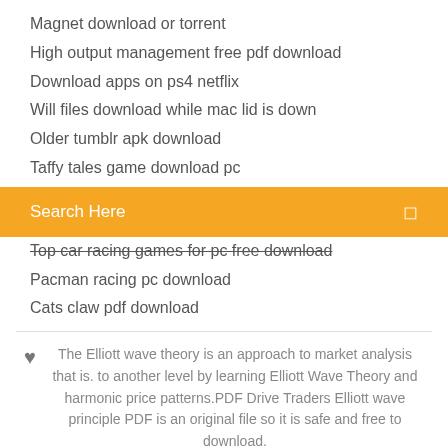Magnet download or torrent
High output management free pdf download
Download apps on ps4 netflix
Will files download while mac lid is down
Older tumblr apk download
Taffy tales game download pc
Search Here
Top car racing games for pc free download
Pacman racing pc download
Cats claw pdf download
The Elliott wave theory is an approach to market analysis that is. to another level by learning Elliott Wave Theory and harmonic price patterns.PDF Drive Traders Elliott wave principle PDF is an original file so it is safe and free to download.
[Figure (infographic): Social media icons: Facebook, Twitter, Dribbble, Behance]